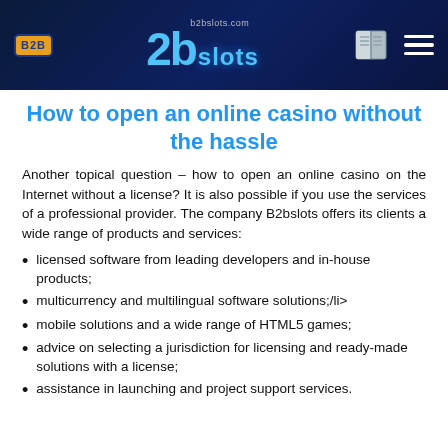b2bslots.com b2b slots
How to open an online casino without the hassle
Another topical question – how to open an online casino on the Internet without a license? It is also possible if you use the services of a professional provider. The company B2bslots offers its clients a wide range of products and services:
licensed software from leading developers and in-house products;
multicurrency and multilingual software solutions;/li>
mobile solutions and a wide range of HTML5 games;
advice on selecting a jurisdiction for licensing and ready-made solutions with a license;
assistance in launching and project support services.